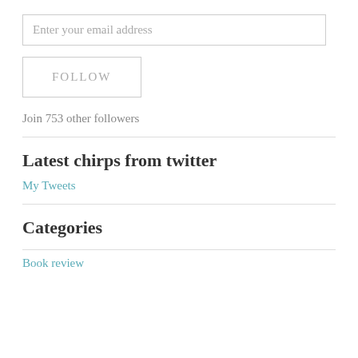Enter your email address
FOLLOW
Join 753 other followers
Latest chirps from twitter
My Tweets
Categories
Book review